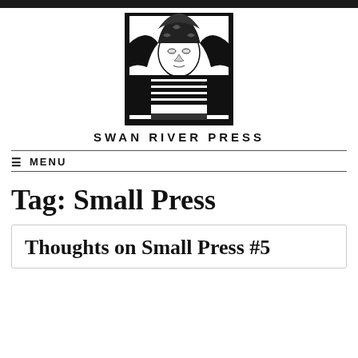[Figure (logo): Swan River Press logo: black and white illustration of a classical bust/head with ornate decorative elements]
SWAN RIVER PRESS
≡ MENU
Tag: Small Press
Thoughts on Small Press #5